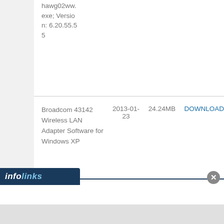hawg02ww.exe; Version: 6.20.55.55
| Name | Date | Size | Action |
| --- | --- | --- | --- |
| Broadcom 43142 Wireless LAN Adapter Software for Windows XP | 2013-01-23 | 24.24MB | DOWNLOAD |
[Figure (screenshot): Infolinks advertisement bar at bottom of page with close button]